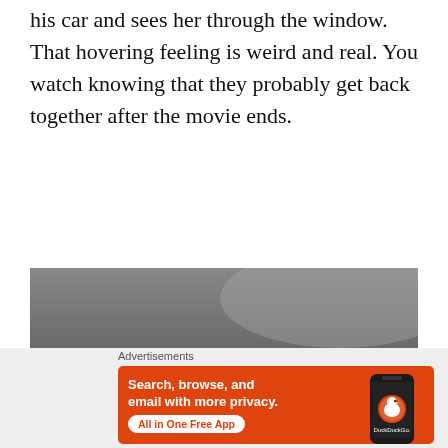his car and sees her through the window. That hovering feeling is weird and real. You watch knowing that they probably get back together after the movie ends.
[Figure (photo): Black and white photograph showing a dark scene with what appears to be a compass or gauge instrument at the bottom center, set against a dark background with some lighter areas at the top.]
Advertisements
[Figure (screenshot): DuckDuckGo advertisement banner with orange background. Text reads: Search, browse, and email with more privacy. All in One Free App. Shows a smartphone with DuckDuckGo app icon and logo.]